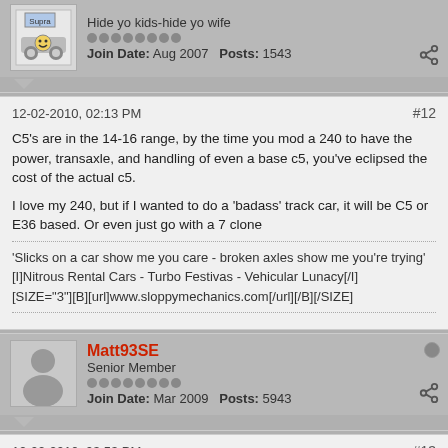Hide yo kids-hide yo wife
Join Date: Aug 2007   Posts: 1543
12-02-2010, 02:13 PM
#12
C5's are in the 14-16 range, by the time you mod a 240 to have the power, transaxle, and handling of even a base c5, you've eclipsed the cost of the actual c5.
I love my 240, but if I wanted to do a 'badass' track car, it will be C5 or E36 based. Or even just go with a 7 clone
'Slicks on a car show me you care - broken axles show me you're trying'
[I]Nitrous Rental Cars - Turbo Festivas - Vehicular Lunacy[/I]
[SIZE="3"][B][url]www.sloppymechanics.com[/url][/B][/SIZE]
Matt93SE
Senior Member
Join Date: Mar 2009   Posts: 5943
12-02-2010, 03:53 PM
#13